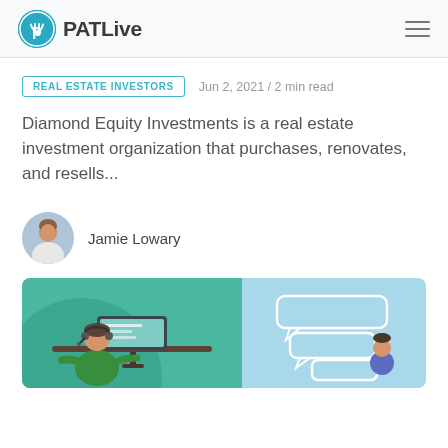PATLive
REAL ESTATE INVESTORS   Jun 2, 2021 / 2 min read
Diamond Equity Investments is a real estate investment organization that purchases, renovates, and resells...
Jamie Lowary
[Figure (illustration): Illustration of a customer service representative at a desk with a headset in front of a computer monitor, with speech bubbles on the right side. Two-tone background of teal/green and light blue.]